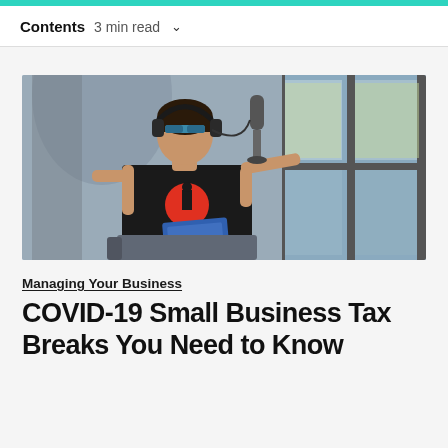Contents  3 min read  ∨
[Figure (photo): Man wearing headphones and a black t-shirt with red circle graphic, sitting near a window, looking down at a blue book/document, with a microphone visible in the background]
Managing Your Business
COVID-19 Small Business Tax Breaks You Need to Know